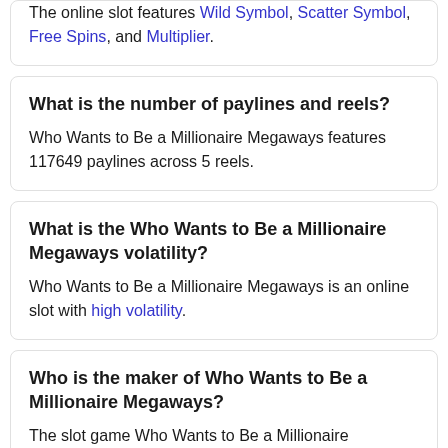The online slot features Wild Symbol, Scatter Symbol, Free Spins, and Multiplier.
What is the number of paylines and reels?
Who Wants to Be a Millionaire Megaways features 117649 paylines across 5 reels.
What is the Who Wants to Be a Millionaire Megaways volatility?
Who Wants to Be a Millionaire Megaways is an online slot with high volatility.
Who is the maker of Who Wants to Be a Millionaire Megaways?
The slot game Who Wants to Be a Millionaire